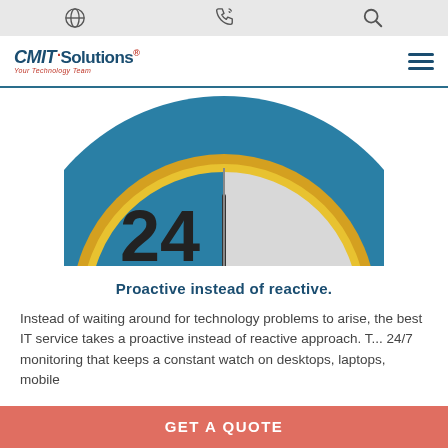CMIT Solutions - Navigation bar with globe, phone, and search icons, hamburger menu
[Figure (illustration): 24/7 clock illustration. A large teal/blue circle contains a gold-ringed clock face. The left half shows '24' in bold dark text on the blue background; the right half shows a light gray clock face with a '7' and clock hands pointing down-left. The image is cropped at the top.]
Proactive instead of reactive.
Instead of waiting around for technology problems to arise, the best IT service takes a proactive instead of reactive approach. T... 24/7 monitoring that keeps a constant watch on desktops, laptops, mobile
GET A QUOTE